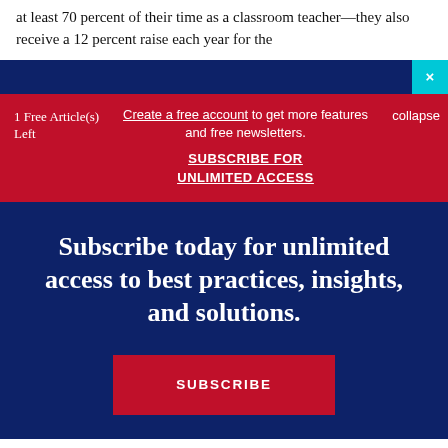at least 70 percent of their time as a classroom teacher—they also receive a 12 percent raise each year for the
1 Free Article(s) Left
Create a free account to get more features and free newsletters. SUBSCRIBE FOR UNLIMITED ACCESS
collapse
Subscribe today for unlimited access to best practices, insights, and solutions.
SUBSCRIBE